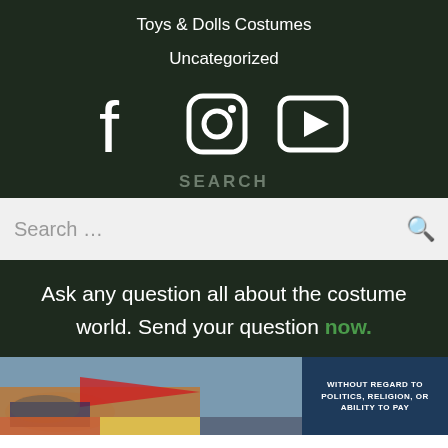Toys & Dolls Costumes
Uncategorized
[Figure (infographic): Social media icons: Facebook, Instagram, YouTube]
SEARCH
Search ...
Ask any question all about the costume world. Send your question now.
[Figure (photo): Advertisement banner showing an airplane being loaded with cargo, and a text box reading WITHOUT REGARD TO POLITICS, RELIGION, OR ABILITY TO PAY]